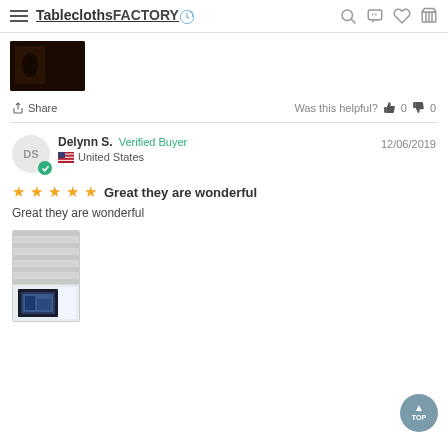TableclothsFACTORY.com
[Figure (photo): Dark brown product photo thumbnail]
Share   Was this helpful?  👍 0  👎 0
Delynn S.  Verified Buyer  12/06/2019  United States
★★★★★  Great they are wonderful
Great they are wonderful
[Figure (photo): Review photo showing blinds/curtains with a framed picture below]